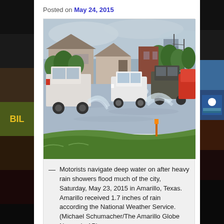Posted on May 24, 2015
[Figure (photo): Vehicles driving through heavily flooded street in Amarillo, Texas after heavy rain showers, May 23, 2015. Water splashing around pickup trucks and cars.]
— Motorists navigate deep water on after heavy rain showers flood much of the city, Saturday, May 23, 2015 in Amarillo, Texas. Amarillo received 1.7 inches of rain according the National Weather Service. (Michael Schumacher/The Amarillo Globe News via AP)